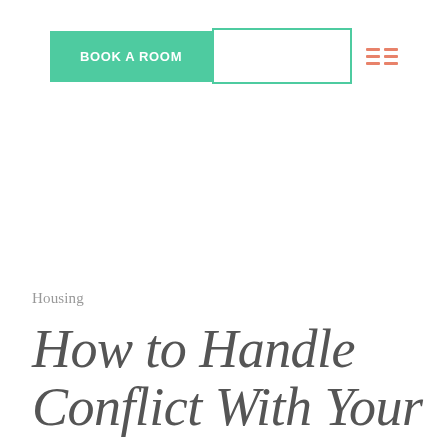BOOK A ROOM
Housing
How to Handle Conflict With Your Roommate